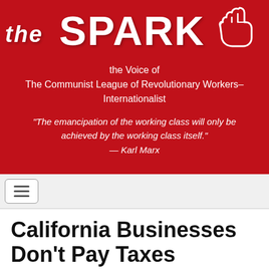[Figure (logo): The Spark masthead banner on red background. Features large white text 'THE SPARK' with a raised fist icon. Below reads 'the Voice of The Communist League of Revolutionary Workers–Internationalist' and a quote: 'The emancipation of the working class will only be achieved by the working class itself.' — Karl Marx]
[Figure (screenshot): Navigation bar with hamburger menu button (three horizontal lines) on a light gray background]
California Businesses Don't Pay Taxes
Jun 20, 2022